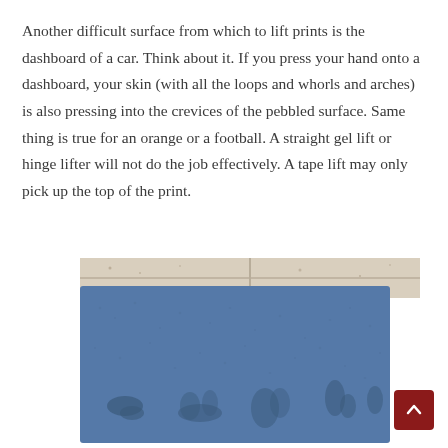Another difficult surface from which to lift prints is the dashboard of a car. Think about it. If you press your hand onto a dashboard, your skin (with all the loops and whorls and arches) is also pressing into the crevices of the pebbled surface. Same thing is true for an orange or a football. A straight gel lift or hinge lifter will not do the job effectively. A tape lift may only pick up the top of the print.
[Figure (photo): A blue pebbled surface (resembling a car dashboard or similar textured material) showing fingerprint impressions pressed into it. The surface has a rough, granular texture and multiple hand/finger marks are visible as darker impressions across the blue material. The photo is taken against a light speckled background.]